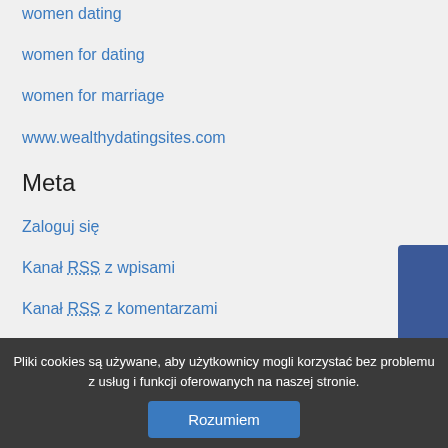women dating
women for dating
women for marriage
www.wealthydatingsites.com
Meta
Zaloguj się
Kanał RSS z wpisami
Kanał RSS z komentarzami
WordPress.org
[Figure (logo): Facebook vertical badge/button in blue with white 'facebook' text rotated 90 degrees]
Pliki cookies są używane, aby użytkownicy mogli korzystać bez problemu z usług i funkcji oferowanych na naszej stronie.
Rozumiem